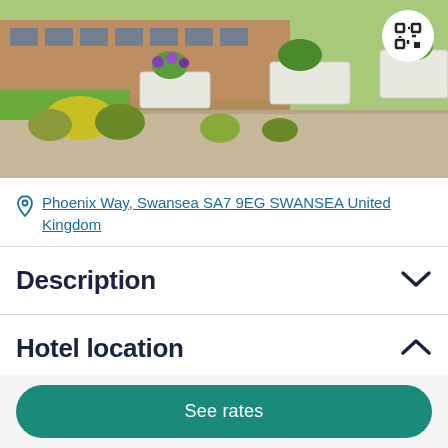[Figure (photo): Exterior photo of hotel with garden planters, flowers, and paved courtyard area. A circular scan/QR button is visible in the upper right corner.]
Phoenix Way, Swansea SA7 9EG SWANSEA United Kingdom
Description
Hotel location
See rates